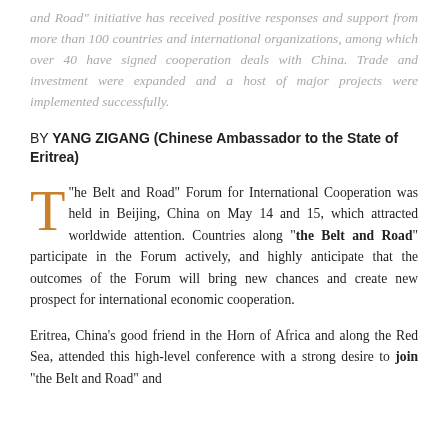and Road” initiative has received positive responses and support from more than 100 countries and international organizations, among which over 40 have signed cooperation deals with China. Trade and investment were expanded and a host of major projects were implemented successfully.
BY YANG ZIGANG (Chinese Ambassador to the State of Eritrea)
“The Belt and Road” Forum for International Cooperation was held in Beijing, China on May 14 and 15, which attracted worldwide attention. Countries along “the Belt and Road” participate in the Forum actively, and highly anticipate that the outcomes of the Forum will bring new chances and create new prospect for international economic cooperation.
Eritrea, China’s good friend in the Horn of Africa and along the Red Sea, attended this high-level conference with a strong desire to join “the Belt and Road” and